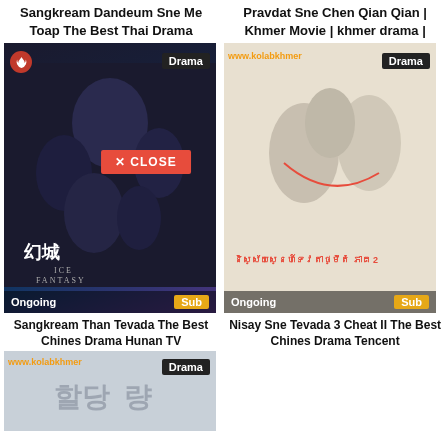Sangkream Dandeum Sne Me Toap The Best Thai Drama
Pravdat Sne Chen Qian Qian | Khmer Movie | khmer drama |
[Figure (photo): Movie poster for Ice Fantasy (幻城) showing fantasy characters in dark armor and white costumes. Has Drama badge, fire icon, 'Ongoing' and 'Sub' labels. A red CLOSE button overlay is visible.]
Sangkream Than Tevada The Best Chines Drama Hunan TV
[Figure (photo): Movie poster for Nisay Sne Tevada 3 showing two characters in white costumes with Khmer text overlay, watermark www.kolabkhmer, Drama badge, Ongoing and Sub labels.]
Nisay Sne Tevada 3 Cheat II The Best Chines Drama Tencent
[Figure (photo): Partial bottom card showing Korean drama poster with www.kolabkhmer watermark and Drama badge, grey/blue tones.]